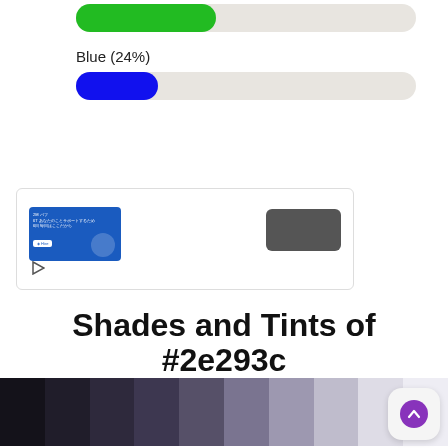[Figure (infographic): Green progress bar at top of page, partially cut off, showing green filled portion on a light beige track]
Blue (24%)
[Figure (infographic): Blue progress bar showing 24% fill (blue rounded pill) on a light beige rounded track]
[Figure (infographic): Advertisement box with border: a blue banner ad on the left showing Japanese text and a Hire logo, a play button icon below it, and a dark gray button/placeholder on the right]
Shades and Tints of #2e293c
[Figure (illustration): A horizontal row of color swatches showing shades and tints of #2e293c, ranging from very dark near-black on the left through dark purple-gray tones to light lavender on the right, approximately 10 swatches]